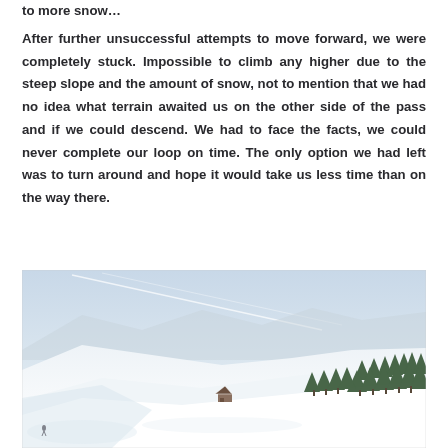to more snow...
After further unsuccessful attempts to move forward, we were completely stuck. Impossible to climb any higher due to the steep slope and the amount of snow, not to mention that we had no idea what terrain awaited us on the other side of the pass and if we could descend. We had to face the facts, we could never complete our loop on time. The only option we had left was to turn around and hope it would take us less time than on the way there.
[Figure (photo): A snowy alpine mountain landscape with steep snow-covered slopes, conifer trees in the mid-ground, a small chalet/hut visible in the lower center, and a pale blue sky with a contrail streak across it.]